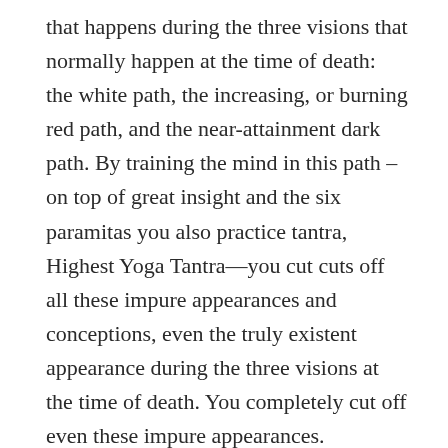that happens during the three visions that normally happen at the time of death: the white path, the increasing, or burning red path, and the near-attainment dark path. By training the mind in this path – on top of great insight and the six paramitas you also practice tantra, Highest Yoga Tantra—you cut cuts off all these impure appearances and conceptions, even the truly existent appearance during the three visions at the time of death. You completely cut off even these impure appearances.
Like the sun shining in a sky completely free of clouds, the mind is completely free of all stains. This mind becomes the transcendental wisdom of the dharmakaya. When the sun rises, an uncountable number of rays are directed to the darkness of the